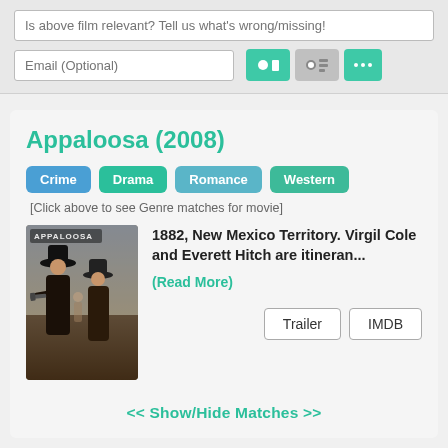Is above film relevant? Tell us what's wrong/missing!
Email (Optional)
[Figure (screenshot): UI button group with teal and gray toggle buttons]
Appaloosa (2008)
Crime  Drama  Romance  Western
[Click above to see Genre matches for movie]
[Figure (photo): Movie poster for Appaloosa showing two figures with guns in a western setting, title APPALOOSA visible]
1882, New Mexico Territory. Virgil Cole and Everett Hitch are itineran...
(Read More)
Trailer  IMDB
<< Show/Hide Matches >>